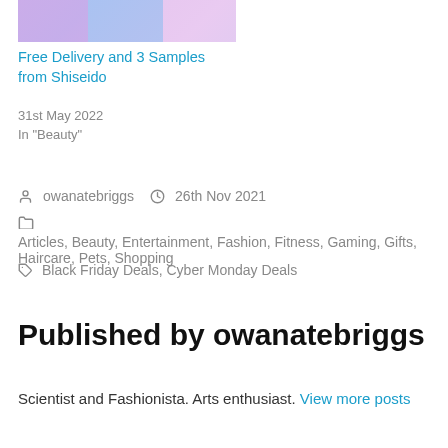[Figure (photo): Partial image of cosmetic/beauty products with purple and blue tones]
Free Delivery and 3 Samples from Shiseido
31st May 2022
In "Beauty"
owanatebriggs   26th Nov 2021
Articles, Beauty, Entertainment, Fashion, Fitness, Gaming, Gifts, Haircare, Pets, Shopping
Black Friday Deals, Cyber Monday Deals
Published by owanatebriggs
Scientist and Fashionista. Arts enthusiast. View more posts